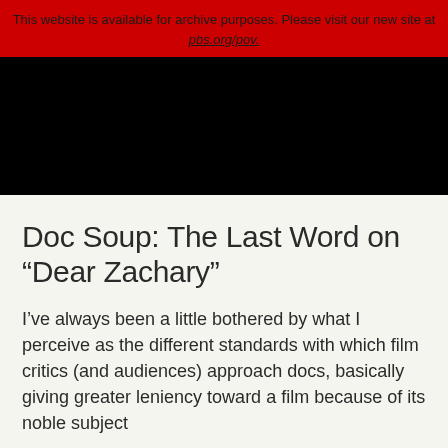This website is available for archive purposes. Please visit our new site at pbs.org/pov.
[Figure (other): Black video player area]
Doc Soup: The Last Word on “Dear Zachary”
I’ve always been a little bothered by what I perceive as the different standards with which film critics (and audiences) approach docs, basically giving greater leniency toward a film because of its noble subject